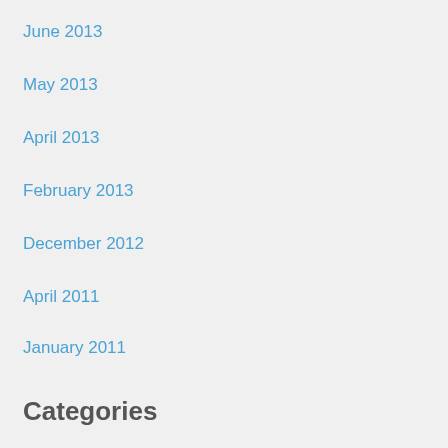June 2013
May 2013
April 2013
February 2013
December 2012
April 2011
January 2011
Categories
htaccess
Magento
Others
Wordpress